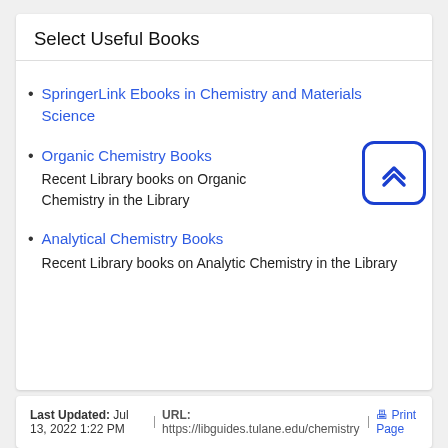Select Useful Books
SpringerLink Ebooks in Chemistry and Materials Science
Organic Chemistry Books
Recent Library books on Organic Chemistry in the Library
Analytical Chemistry Books
Recent Library books on Analytic Chemistry in the Library
Last Updated: Jul 13, 2022 1:22 PM | URL: https://libguides.tulane.edu/chemistry | Print Page